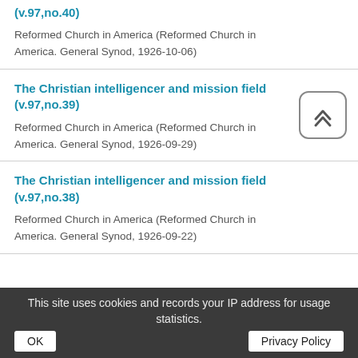The Christian intelligencer and mission field (v.97,no.40)
Reformed Church in America (Reformed Church in America. General Synod, 1926-10-06)
The Christian intelligencer and mission field (v.97,no.39)
Reformed Church in America (Reformed Church in America. General Synod, 1926-09-29)
The Christian intelligencer and mission field (v.97,no.38)
Reformed Church in America (Reformed Church in America. General Synod, 1926-09-22)
This site uses cookies and records your IP address for usage statistics.